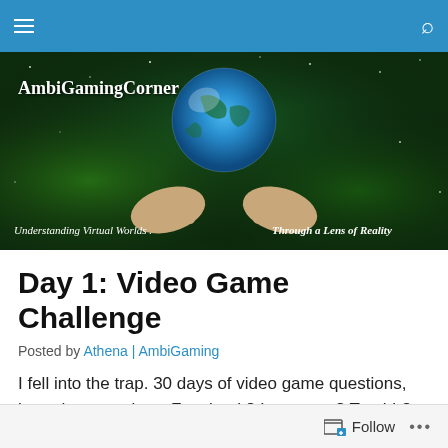AmbiGamingCorner — navigation bar
[Figure (illustration): AmbiGamingCorner blog banner: space/nebula background with a blue Earth globe floating above two outstretched hands. Text reads 'AmbiGamingCorner' top left, 'Understanding Virtual Worlds' bottom left, 'Through a Lens of Reality' bottom right.]
Day 1: Video Game Challenge
Posted by Athena | AmbiGaming
I fell into the trap. 30 days of video game questions, brought to you by… Facebook? Instagram? Tumblr?
Follow